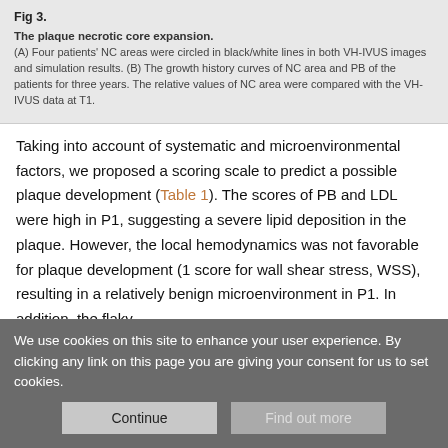Fig 3.
The plaque necrotic core expansion.
(A) Four patients' NC areas were circled in black/white lines in both VH-IVUS images and simulation results. (B) The growth history curves of NC area and PB of the patients for three years. The relative values of NC area were compared with the VH-IVUS data at T1.
Taking into account of systematic and microenvironmental factors, we proposed a scoring scale to predict a possible plaque development (Table 1). The scores of PB and LDL were high in P1, suggesting a severe lipid deposition in the plaque. However, the local hemodynamics was not favorable for plaque development (1 score for wall shear stress, WSS), resulting in a relatively benign microenvironment in P1. In addition, the flaky
We use cookies on this site to enhance your user experience. By clicking any link on this page you are giving your consent for us to set cookies.